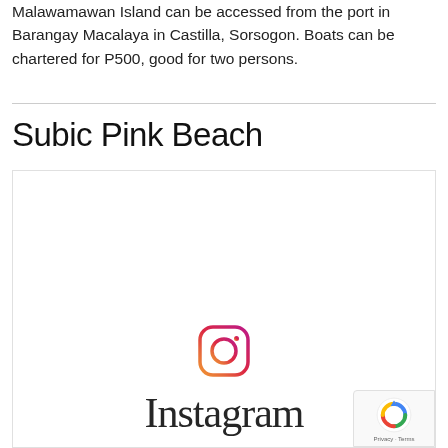Malawamawan Island can be accessed from the port in Barangay Macalaya in Castilla, Sorsogon. Boats can be chartered for P500, good for two persons.
Subic Pink Beach
[Figure (screenshot): Instagram embed placeholder showing the Instagram logo (camera icon) and wordmark 'Instagram' in script font, with a reCAPTCHA badge in the bottom right corner showing Privacy · Terms text.]